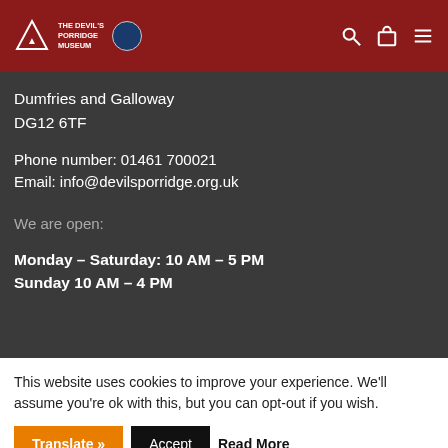The Devil's Porridge Museum
Dumfries and Galloway
DG12 6TF
Phone number: 01461 700021
Email: info@devilsporridge.org.uk
We are open:
Monday – Saturday: 10 AM – 5 PM
Sunday 10 AM – 4 PM
This website uses cookies to improve your experience. We'll assume you're ok with this, but you can opt-out if you wish.